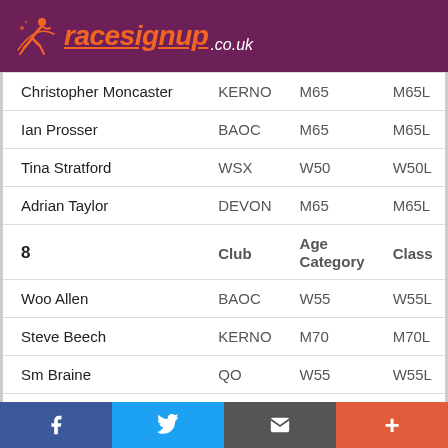[Figure (logo): racesignup.co.uk logo on dark purple background]
| Name | Club | Age Category | Class |
| --- | --- | --- | --- |
| Christopher Moncaster | KERNO | M65 | M65L |
| Ian Prosser | BAOC | M65 | M65L |
| Tina Stratford | WSX | W50 | W50L |
| Adrian Taylor | DEVON | M65 | M65L |
| 8 |  | Age Category | Class |
| Woo Allen | BAOC | W55 | W55L |
| Steve Beech | KERNO | M70 | M70L |
| Sm Braine | QO | W55 | W55L |
| Nicola Brooke | WSX | M55 | W55L |
f  [twitter]  [email]  +